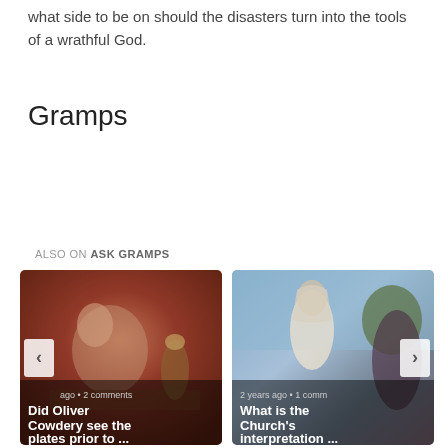what side to be on should the disasters turn into the tools of a wrathful God.
Gramps
ALSO ON ASK GRAMPS
[Figure (photo): Left card: painting of a young man at a desk with a lamp, title 'Did Oliver Cowdery see the plates prior to ...' with meta 'ago • 2 comments']
[Figure (photo): Right card: painting of a robed figure outdoors, title 'What is the Church's interpretation ...' with meta '2 years ago • 1 comm']